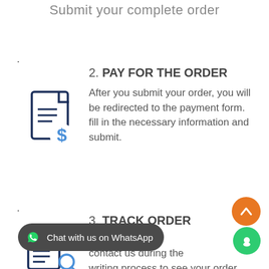Submit your complete order
.
2. PAY FOR THE ORDER
[Figure (illustration): Icon of a document with a dollar sign, representing payment]
After you submit your order, you will be redirected to the payment form. fill in the necessary information and submit.
.
3. TRACK ORDER PROGRESS
[Figure (illustration): Icon of a document with a magnifying glass or tracking symbol]
contact us during the writing process to see your order
[Figure (screenshot): Chat with us on WhatsApp bubble button]